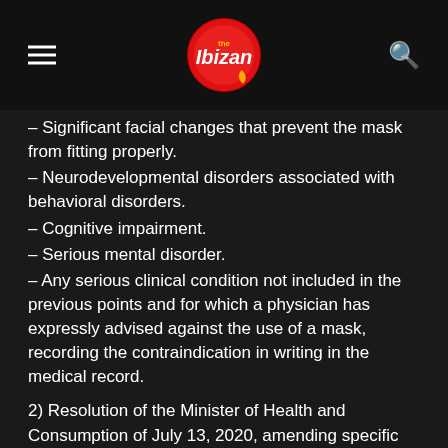The Ibizan
– Significant facial changes that prevent the mask from fitting properly.
– Neurodevelopmental disorders associated with behavioral disorders.
– Cognitive impairment.
– Serious mental disorder.
– Any serious clinical condition not included in the previous points and for which a physician has expressly advised against the use of a mask, recording the contraindication in writing in the medical record.
2) Resolution of the Minister of Health and Consumption of July 13, 2020, amending specific measures of the Plan for Exceptional Measures of Prevention, Containment and Coordination to Cope with the Sanitary Crisis Caused by